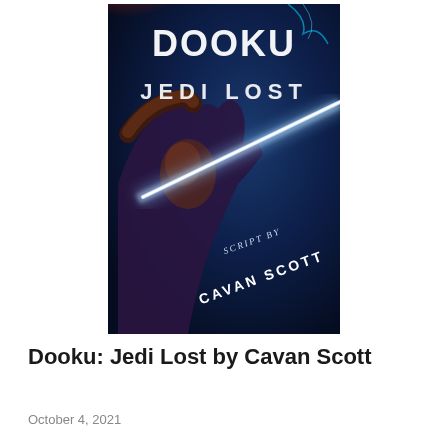[Figure (illustration): Book cover of 'Dooku: Jedi Lost' with script by Cavan Scott. Dark blue and red dramatic background with a lightsaber beam. A figure holds a weapon on the left side. Large white text reads 'DOOKU JEDI LOST' and 'SCRIPT BY CAVAN SCOTT'.]
Dooku: Jedi Lost by Cavan Scott
October 4, 2021